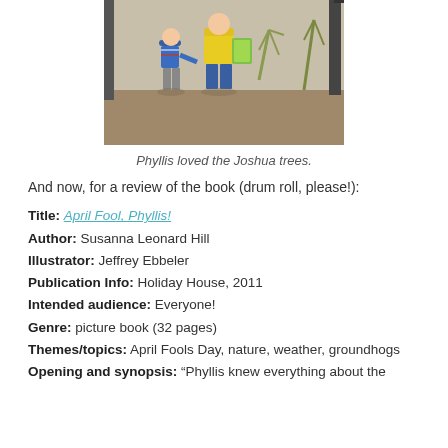[Figure (photo): Two children standing outdoors near Joshua trees and a fence, one in a blue striped shirt and grey pants, the other in a yellow shirt holding a book.]
Phyllis loved the Joshua trees.
And now, for a review of the book (drum roll, please!):
Title: April Fool, Phyllis!
Author: Susanna Leonard Hill
Illustrator: Jeffrey Ebbeler
Publication Info: Holiday House, 2011
Intended audience: Everyone!
Genre: picture book (32 pages)
Themes/topics: April Fools Day, nature, weather, groundhogs
Opening and synopsis: “Phyllis knew everything about the